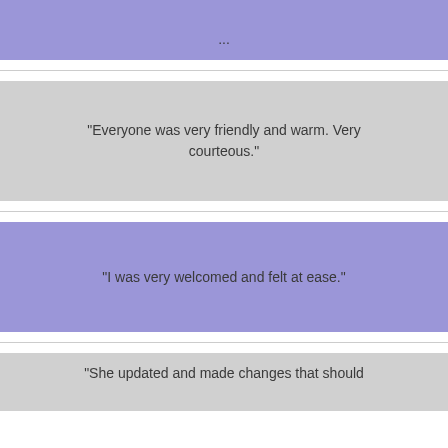...
"Everyone was very friendly and warm. Very courteous."
"I was very welcomed and felt at ease."
"She updated and made changes that should